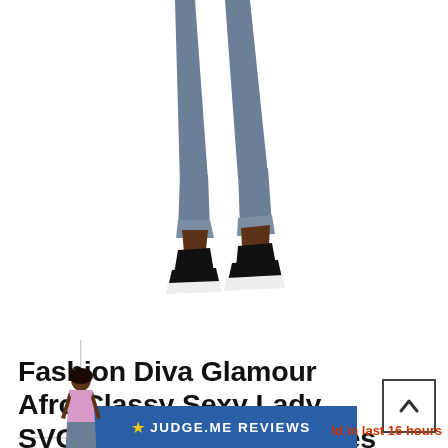[Figure (illustration): Cropped illustration of a fashion figure's lower body wearing grey jeans rolled at the ankles and black sneakers with white soles, on a white background]
[Figure (illustration): Thumbnail of a full-body illustrated fashion figure (Afro woman in pink top and grey jeans) with crosshair/zoom lines overlaid and a black underline beneath]
Fashion Diva Glamour Afro Classy Sexy Lady SVG PNG JPG Vector Files For Cutting and More
★ JUDGE.ME REVIEWS
ld in last 16 hours